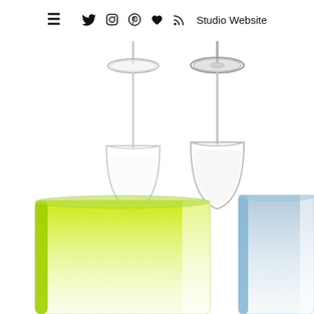≡ Twitter Instagram Pinterest Heart RSS Studio Website
[Figure (photo): Two upside-down clear glass wine glasses side by side on a white background, showing their stems and bases pointing upward]
[Figure (photo): Two drinking glasses, one with a yellow-green gradient and one with a light blue/grey frosted appearance, shown on a white background]